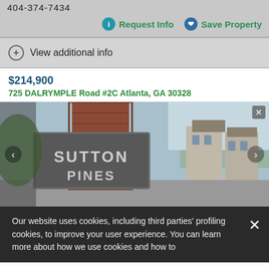404-374-7434
Request Info
Save Property
View additional info
$214,900
725 DALRYMPLE Road #2C Atlanta, GA 30328
[Figure (photo): Exterior photo of Sutton Pines condominium community showing the community entrance sign on a brick pillar and townhome buildings in background]
Our website uses cookies, including third parties' profiling cookies, to improve your user experience. You can learn more about how we use cookies and how to